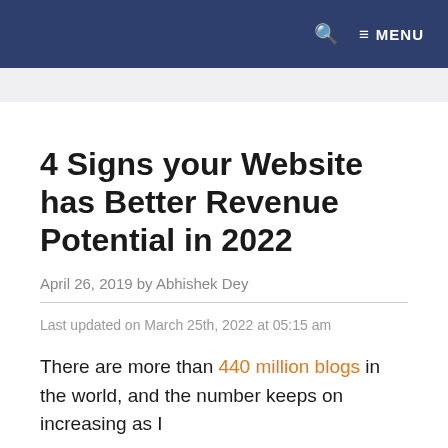🔍  ≡ MENU
4 Signs your Website has Better Revenue Potential in 2022
April 26, 2019 by Abhishek Dey
Last updated on March 25th, 2022 at 05:15 am
There are more than 440 million blogs in the world, and the number keeps on increasing as I